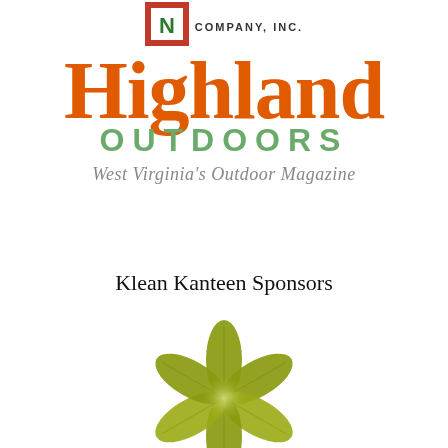[Figure (logo): Highland Outdoors Company Inc. logo with a red-bordered box containing a white 'N' or mountain mark, large orange 'Highland' text, green 'OUTDOORS' text, and tagline 'West Virginia's Outdoor Magazine']
Klean Kanteen Sponsors
[Figure (illustration): A decorative star-shaped flower made of olive/yellow-green leaves arranged in a radial pattern, with a light center glow]